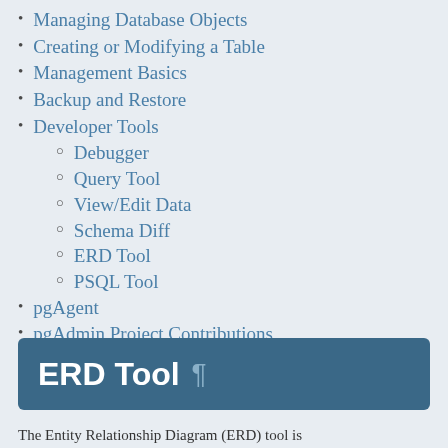Managing Database Objects
Creating or Modifying a Table
Management Basics
Backup and Restore
Developer Tools
Debugger
Query Tool
View/Edit Data
Schema Diff
ERD Tool
PSQL Tool
pgAgent
pgAdmin Project Contributions
Release Notes
Licence
ERD Tool
The Entity Relationship Diagram (ERD) tool is